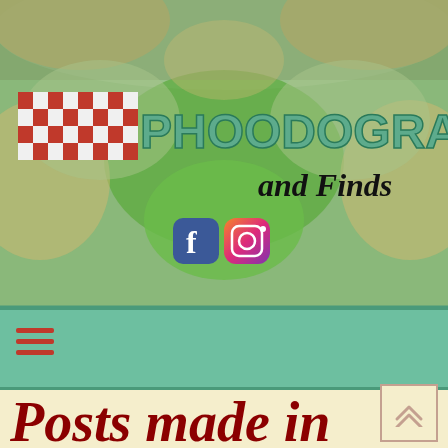[Figure (screenshot): Website header banner with food background (green vegetables, mushrooms), red and white checkered pattern logo element, site title 'PHOODOGRAPHS and Finds' in teal block letters with italic subtitle, Facebook and Instagram social media icons]
[Figure (infographic): Teal/green navigation bar with red hamburger menu icon (three horizontal lines)]
Posts made in December 2020